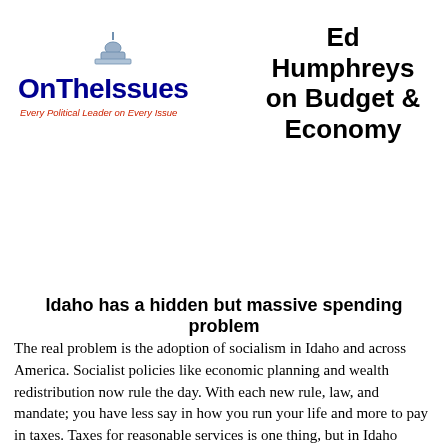[Figure (logo): OnTheIssues logo with capitol dome graphic. Blue text 'OnTheIssues' with red tagline 'Every Political Leader on Every Issue']
Ed Humphreys on Budget & Economy
Idaho has a hidden but massive spending problem
The real problem is the adoption of socialism in Idaho and across America. Socialist policies like economic planning and wealth redistribution now rule the day. With each new rule, law, and mandate; you have less say in how you run your life and more to pay in taxes. Taxes for reasonable services is one thing, but in Idaho